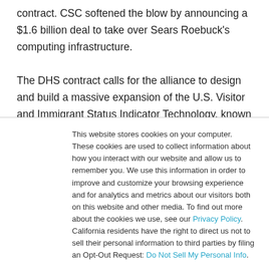contract. CSC softened the blow by announcing a $1.6 billion deal to take over Sears Roebuck's computing infrastructure. The DHS contract calls for the alliance to design and build a massive expansion of the U.S. Visitor and Immigrant Status Indicator Technology, known as US-VISIT for short. The system eventually will be installed at 400 ports of entry in the
This website stores cookies on your computer. These cookies are used to collect information about how you interact with our website and allow us to remember you. We use this information in order to improve and customize your browsing experience and for analytics and metrics about our visitors both on this website and other media. To find out more about the cookies we use, see our Privacy Policy. California residents have the right to direct us not to sell their personal information to third parties by filing an Opt-Out Request: Do Not Sell My Personal Info.
Accept